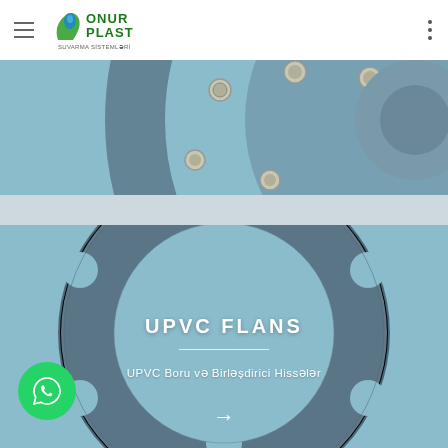Onur Plast - Suvarma Sistemləri
[Figure (photo): Close-up photo of a UPVC flange fitting with bolts and nuts on a light blue background, top portion cut off]
[Figure (photo): UPVC flange ring (flat circular gasket/flange with bolt holes) photographed from above on a light blue background]
UPVC FLANS
UPVC Boru və Birləşdirici Hissələr